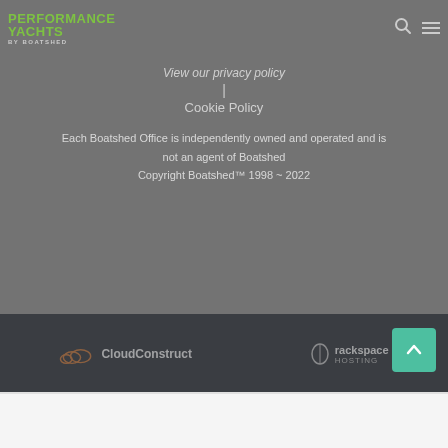PERFORMANCE YACHTS BY BOATSHED
View our privacy policy
|
Cookie Policy
Each Boatshed Office is independently owned and operated and is not an agent of Boatshed
Copyright Boatshed™ 1998 ~ 2022
[Figure (logo): CloudConstruct logo in footer]
[Figure (logo): Rackspace Hosting logo in footer]